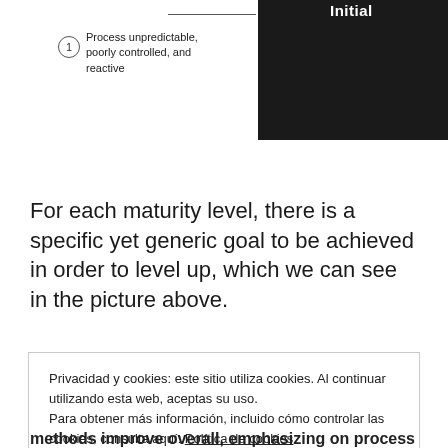[Figure (infographic): Maturity level diagram showing level 1 labeled 'Initial' with a dark background block on the right and a numbered circle badge (1) with text 'Process unpredictable, poorly controlled, and reactive' and a connector line to the dark block.]
For each maturity level, there is a specific yet generic goal to be achieved in order to level up, which we can see in the picture above.
Privacidad y cookies: este sitio utiliza cookies. Al continuar utilizando esta web, aceptas su uso.
Para obtener más información, incluido cómo controlar las cookies, consulta aquí: Política de cookies

Cerrar y aceptar
methods improve overall, emphasizing on process